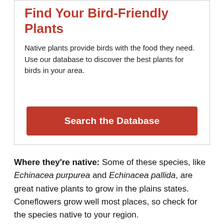Find Your Bird-Friendly Plants
Native plants provide birds with the food they need. Use our database to discover the best plants for birds in your area.
Search the Database
Where they're native: Some of these species, like Echinacea purpurea and Echinacea pallida, are great native plants to grow in the plains states. Coneflowers grow well most places, so check for the species native to your region.